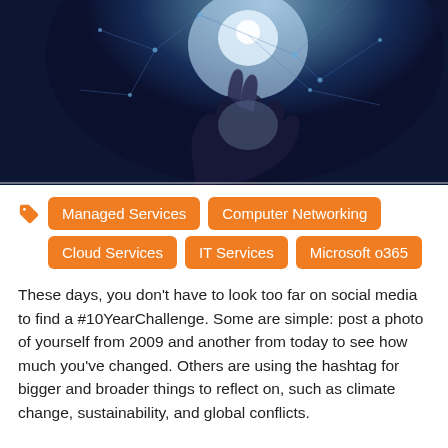[Figure (photo): Dark background photo of a hand reaching up toward a glowing light with network/technology geometric pattern overlay]
Managed Services
Computer Networking
Cloud Services
IT Services
Microsoft o365
These days, you don't have to look too far on social media to find a #10YearChallenge. Some are simple: post a photo of yourself from 2009 and another from today to see how much you've changed. Others are using the hashtag for bigger and broader things to reflect on, such as climate change, sustainability, and global conflicts.